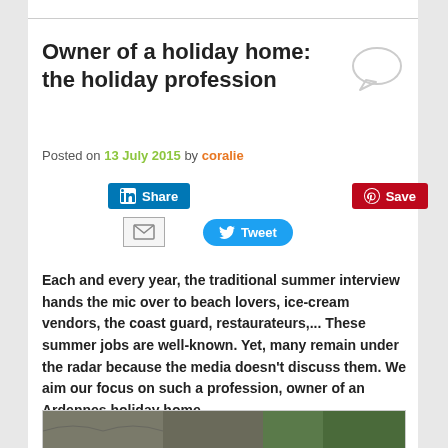Owner of a holiday home: the holiday profession
Posted on 13 July 2015 by coralie
[Figure (infographic): Social sharing buttons: LinkedIn Share, Pinterest Save, Email, Twitter Tweet]
Each and every year, the traditional summer interview hands the mic over to beach lovers, ice-cream vendors, the coast guard, restaurateurs,... These summer jobs are well-known. Yet, many remain under the radar because the media doesn't discuss them. We aim our focus on such a profession, owner of an Ardennes holiday home...
[Figure (photo): Photo of an Ardennes holiday home exterior with tiled roof and trees]